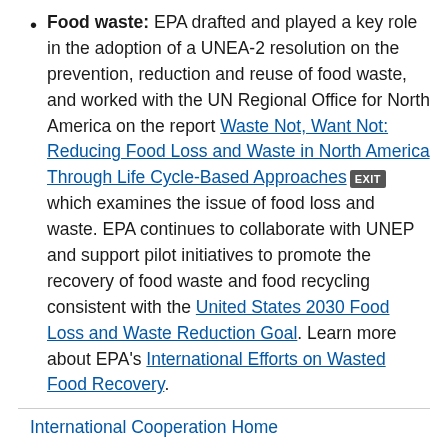Food waste: EPA drafted and played a key role in the adoption of a UNEA-2 resolution on the prevention, reduction and reuse of food waste, and worked with the UN Regional Office for North America on the report Waste Not, Want Not: Reducing Food Loss and Waste in North America Through Life Cycle-Based Approaches [EXIT] which examines the issue of food loss and waste. EPA continues to collaborate with UNEP and support pilot initiatives to promote the recovery of food waste and food recycling consistent with the United States 2030 Food Loss and Waste Reduction Goal. Learn more about EPA's International Efforts on Wasted Food Recovery.
International Cooperation Home